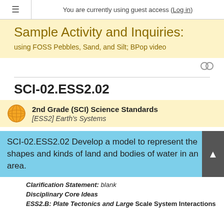You are currently using guest access (Log in)
Sample Activity and Inquiries:
using FOSS Pebbles, Sand, and Silt; BPop video
SCI-02.ESS2.02
2nd Grade (SCI) Science Standards
[ESS2] Earth's Systems
SCI-02.ESS2.02 Develop a model to represent the shapes and kinds of land and bodies of water in an area.
Clarification Statement: blank
Disciplinary Core Ideas
ESS2.B: Plate Tectonics and Large Scale System Interactions